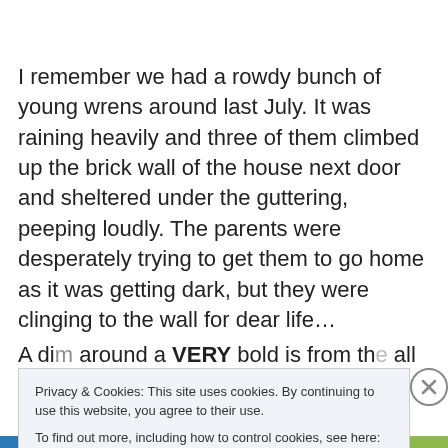I remember we had a rowdy bunch of young wrens around last July. It was raining heavily and three of them climbed up the brick wall of the house next door and sheltered under the guttering, peeping loudly. The parents were desperately trying to get them to go home as it was getting dark, but they were clinging to the wall for dear life…
A di... and ... VERY b... i... f... th... ll bi...
Privacy & Cookies: This site uses cookies. By continuing to use this website, you agree to their use.
To find out more, including how to control cookies, see here: Cookie Policy
Close and accept